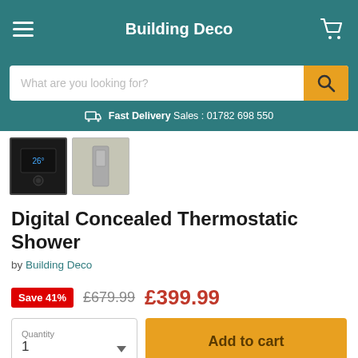Building Deco
What are you looking for?
Fast Delivery Sales: 01782 698 550
[Figure (photo): Two product thumbnail images: one showing a digital thermostat control panel (dark background), one showing a concealed shower unit (grey)]
Digital Concealed Thermostatic Shower
by Building Deco
Save 41%  £679.99  £399.99
Quantity 1  Add to cart